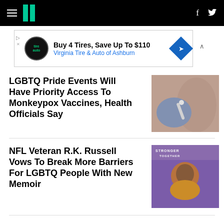HuffPost navigation header with hamburger menu, logo, Facebook and Twitter icons
[Figure (other): Advertisement banner: Buy 4 Tires, Save Up To $110 - Virginia Tire & Auto of Ashburn]
LGBTQ Pride Events Will Have Priority Access To Monkeypox Vaccines, Health Officials Say
[Figure (photo): Close-up photo of a vaccine injection being administered]
NFL Veteran R.K. Russell Vows To Break More Barriers For LGBTQ People With New Memoir
[Figure (photo): Photo of NFL Veteran R.K. Russell smiling, wearing orange jacket, in front of Stronger Together banner]